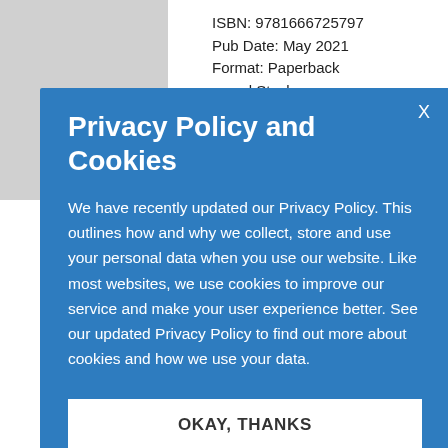ISBN: 9781666725797
Pub Date: May 2021
Format: Paperback
... and Stock
Privacy Policy and Cookies
We have recently updated our Privacy Policy. This outlines how and why we collect, store and use your personal data when you use our website. Like most websites, we use cookies to improve our service and make your user experience better. See our updated Privacy Policy to find out more about cookies and how we use your data.
OKAY, THANKS
ti
of Jesus
alker
00 /
5296695
uary 2021
rback
Imprint: Winf and Stock